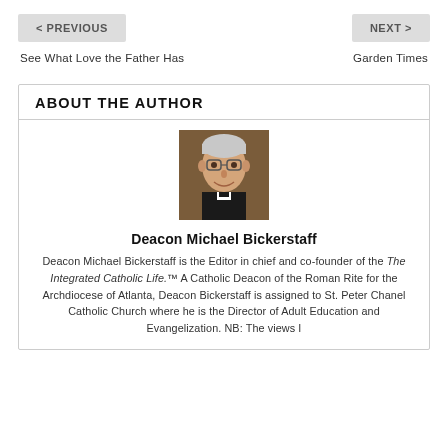< PREVIOUS    NEXT >
See What Love the Father Has
Garden Times
ABOUT THE AUTHOR
[Figure (photo): Portrait photo of Deacon Michael Bickerstaff, an older man with gray hair and glasses wearing a black clerical collar, smiling, against a wooden background.]
Deacon Michael Bickerstaff
Deacon Michael Bickerstaff is the Editor in chief and co-founder of the The Integrated Catholic Life.™ A Catholic Deacon of the Roman Rite for the Archdiocese of Atlanta, Deacon Bickerstaff is assigned to St. Peter Chanel Catholic Church where he is the Director of Adult Education and Evangelization. NB: The views I